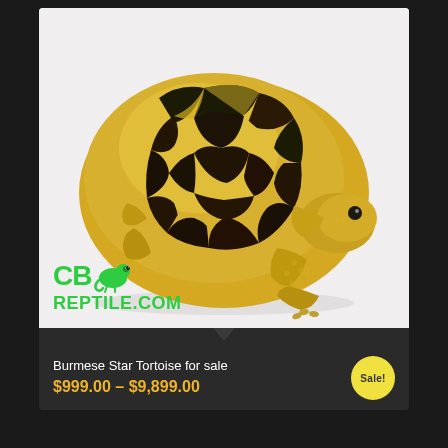[Figure (photo): A Burmese Star Tortoise with a yellow and dark patterned shell on a white background, with CBReptile.com logo overlay in the lower left]
Burmese Star Tortoise for sale
$999.00 – $9,899.00
Sale!